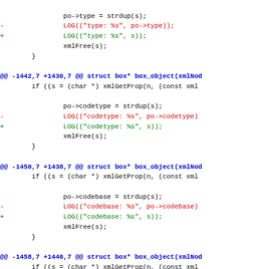Code diff showing changes to LOG macro calls replacing po->type, po->codetype, po->codebase, po->classid with s in box_object function
[Figure (screenshot): A code diff view showing multiple hunks of C source changes, with removed lines in red and added lines in green, context lines in black, and hunk headers in blue.]